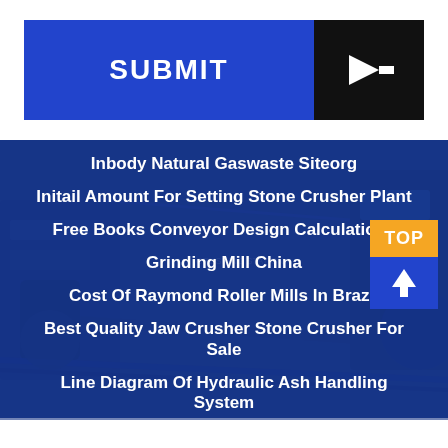[Figure (other): Submit button with blue background and black arrow section]
Inbody Natural Gaswaste Siteorg
Initail Amount For Setting Stone Crusher Plant
Free Books Conveyor Design Calculations
Grinding Mill China
Cost Of Raymond Roller Mills In Brazil
Best Quality Jaw Crusher Stone Crusher For Sale
Line Diagram Of Hydraulic Ash Handling System